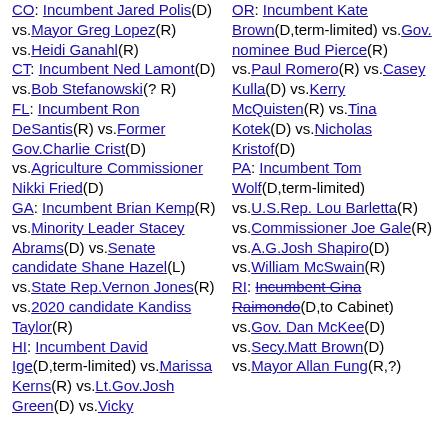CO: Incumbent Jared Polis(D) vs.Mayor Greg Lopez(R) vs.Heidi Ganahl(R)
CT: Incumbent Ned Lamont(D) vs.Bob Stefanowski(? R)
FL: Incumbent Ron DeSantis(R) vs.Former Gov.Charlie Crist(D) vs.Agriculture Commissioner Nikki Fried(D)
GA: Incumbent Brian Kemp(R) vs.Minority Leader Stacey Abrams(D) vs.Senate candidate Shane Hazel(L) vs.State Rep.Vernon Jones(R) vs.2020 candidate Kandiss Taylor(R)
HI: Incumbent David Ige(D,term-limited) vs.Marissa Kerns(R) vs.Lt.Gov.Josh Green(D) vs.Vicky ...
OR: Incumbent Kate Brown(D,term-limited) vs.Gov. nominee Bud Pierce(R) vs.Paul Romero(R) vs.Casey Kulla(D) vs.Kerry McQuisten(R) vs.Tina Kotek(D) vs.Nicholas Kristof(D)
PA: Incumbent Tom Wolf(D,term-limited) vs.U.S.Rep. Lou Barletta(R) vs.Commissioner Joe Gale(R) vs.A.G.Josh Shapiro(D) vs.William McSwain(R)
RI: Incumbent Gina Raimondo(D,to Cabinet) vs.Gov. Dan McKee(D) vs.Secy.Matt Brown(D) vs.Mayor Allan Fung(R,?)